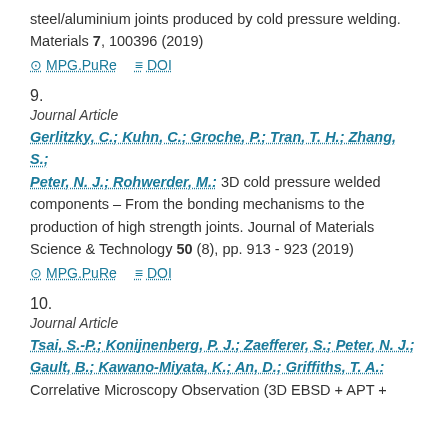steel/aluminium joints produced by cold pressure welding. Materials 7, 100396 (2019)
MPG.PuRe   DOI
9.
Journal Article
Gerlitzky, C.; Kuhn, C.; Groche, P.; Tran, T. H.; Zhang, S.; Peter, N. J.; Rohwerder, M.: 3D cold pressure welded components – From the bonding mechanisms to the production of high strength joints. Journal of Materials Science & Technology 50 (8), pp. 913 - 923 (2019)
MPG.PuRe   DOI
10.
Journal Article
Tsai, S.-P.; Konijnenberg, P. J.; Zaefferer, S.; Peter, N. J.; Gault, B.; Kawano-Miyata, K.; An, D.; Griffiths, T. A.: Correlative Microscopy Observation (3D EBSD + APT +